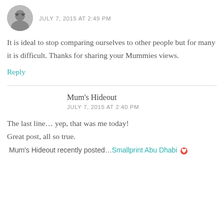[Figure (photo): Circular avatar photo of a person wearing glasses]
JULY 7, 2015 AT 2:49 PM
It is ideal to stop comparing ourselves to other people but for many it is difficult. Thanks for sharing your Mummies views.
Reply
Mum's Hideout
JULY 7, 2015 AT 2:40 PM
The last line… yep, that was me today!
Great post, all so true.
Mum's Hideout recently posted…Smallprint Abu Dhabi